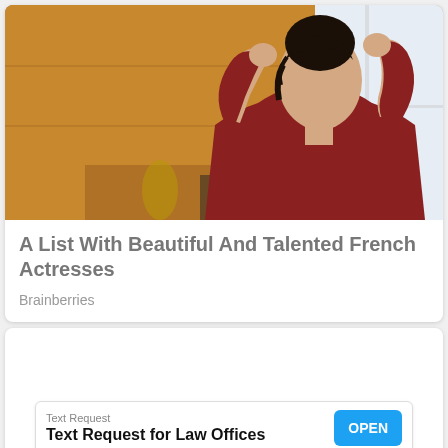[Figure (photo): A woman with dark hair wearing a red long-sleeve top, styling her hair with both hands raised, standing near a window in a warm-toned room.]
A List With Beautiful And Talented French Actresses
Brainberries
[Figure (screenshot): Advertisement banner for Text Request. Shows 'Text Request' label at top, bold title 'Text Request for Law Offices', and a blue OPEN button on the right. Small X and play icons at bottom left.]